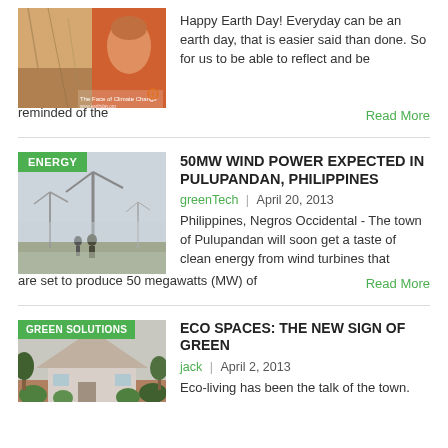[Figure (photo): Climate change composite image showing environmental themes with text 'The Face of Climate Change']
Happy Earth Day! Everyday can be an earth day, that is easier said than done. So for us to be able to reflect and be reminded of the
Read More
[Figure (photo): Wind turbines in foggy landscape with two people walking in foreground, tagged ENERGY]
50MW WIND POWER EXPECTED IN PULUPANDAN, PHILIPPINES
greenTech  |  April 20, 2013
Philippines, Negros Occidental - The town of Pulupandan will soon get a taste of clean energy from wind turbines that are set to produce 50 megawatts (MW) of
Read More
[Figure (photo): Eco house with green foliage, tagged GREEN SOLUTIONS]
ECO SPACES: THE NEW SIGN OF GREEN
jack  |  April 2, 2013
Eco-living has been the talk of the town.